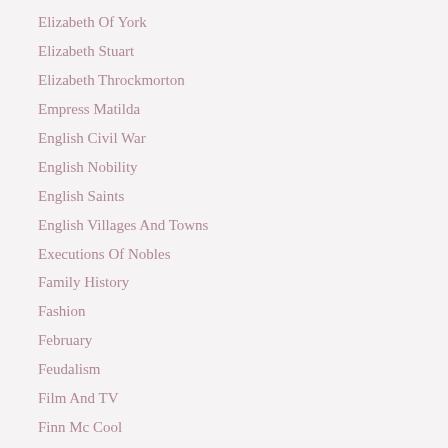Elizabeth Of York
Elizabeth Stuart
Elizabeth Throckmorton
Empress Matilda
English Civil War
English Nobility
English Saints
English Villages And Towns
Executions Of Nobles
Family History
Fashion
February
Feudalism
Film And TV
Finn Mc Cool
Fitzalan Family
Fitz Peirs Family
Fletcher Christian
Folk Tales And Legends